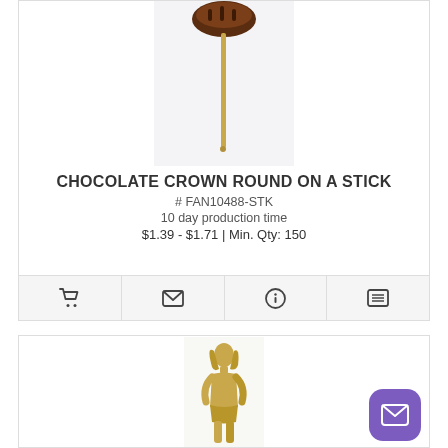[Figure (photo): Product photo of a chocolate crown round on a stick — a chocolate-colored round piece on a thin stick, viewed from above on a white background.]
CHOCOLATE CROWN ROUND ON A STICK
# FAN10488-STK
10 day production time
$1.39 - $1.71 | Min. Qty: 150
[Figure (other): Action bar with four icon buttons: shopping cart, envelope/email, info circle, and list/menu icon.]
[Figure (photo): Product photo of a gold-colored figurine shaped like a standing woman/person, on a white background.]
[Figure (other): Purple rounded square button with white envelope/mail icon (floating action button).]